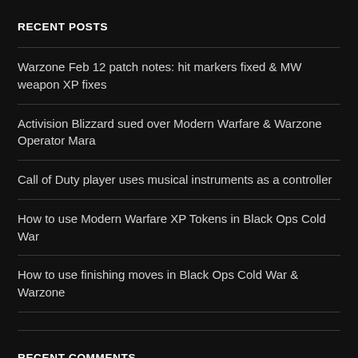RECENT POSTS
Warzone Feb 12 patch notes: hit markers fixed & MW weapon XP fixes
Activision Blizzard sued over Modern Warfare & Warzone Operator Mara
Call of Duty player uses musical instruments as a controller
How to use Modern Warfare XP Tokens in Black Ops Cold War
How to use finishing moves in Black Ops Cold War & Warzone
RECENT COMMENTS
Bill on Fixes for bugs with Rytec AMR Sniper coming soon
Josh on Here's how 2XP Tokens work in Call of Duty: Modern